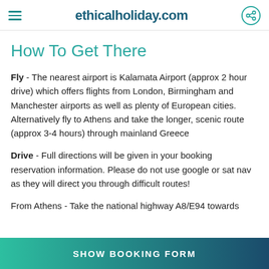ethicalholiday.com
How To Get There
Fly - The nearest airport is Kalamata Airport (approx 2 hour drive) which offers flights from London, Birmingham and Manchester airports as well as plenty of European cities. Alternatively fly to Athens and take the longer, scenic route (approx 3-4 hours) through mainland Greece
Drive - Full directions will be given in your booking reservation information. Please do not use google or sat nav as they will direct you through difficult routes!
From Athens - Take the national highway A8/E94 towards Corinth...
SHOW BOOKING FORM